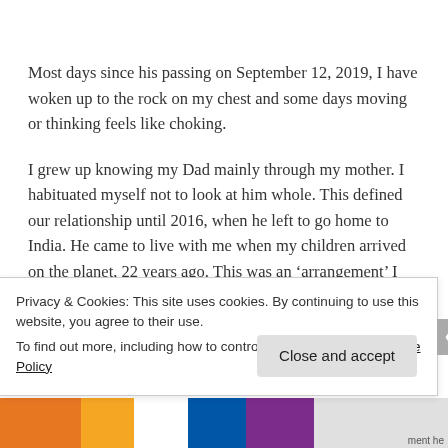Most days since his passing on September 12, 2019, I have woken up to the rock on my chest and some days moving or thinking feels like choking.
I grew up knowing my Dad mainly through my mother. I habituated myself not to look at him whole. This defined our relationship until 2016, when he left to go home to India. He came to live with me when my children arrived on the planet, 22 years ago. This was an ‘arrangement’ I
Privacy & Cookies: This site uses cookies. By continuing to use this website, you agree to their use.
To find out more, including how to control cookies, see here: Cookie Policy
Close and accept